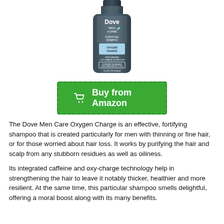[Figure (photo): Dove Men+Care Fortifying Shampoo Oxygen Charge bottle, dark grey/blue, 25.4 FL OZ (750ml)]
[Figure (other): Green Buy from Amazon button with shopping cart icon and dashed border]
The Dove Men Care Oxygen Charge is an effective, fortifying shampoo that is created particularly for men with thinning or fine hair, or for those worried about hair loss. It works by purifying the hair and scalp from any stubborn residues as well as oiliness.
Its integrated caffeine and oxy-charge technology help in strengthening the hair to leave it notably thicker, healthier and more resilient. At the same time, this particular shampoo smells delightful, offering a moral boost along with its many benefits.